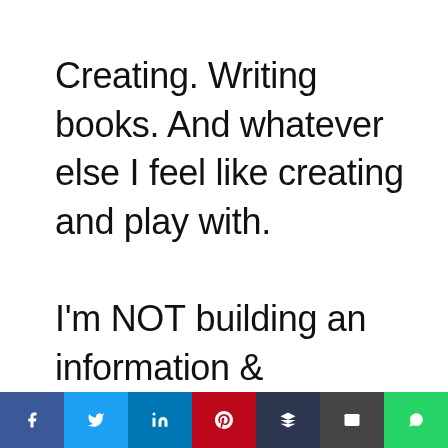Creating. Writing books. And whatever else I feel like creating and play with.

I'm NOT building an information & inspiration empire.
Social share bar: Facebook, Twitter, LinkedIn, Pinterest, Buffer, Email, WhatsApp